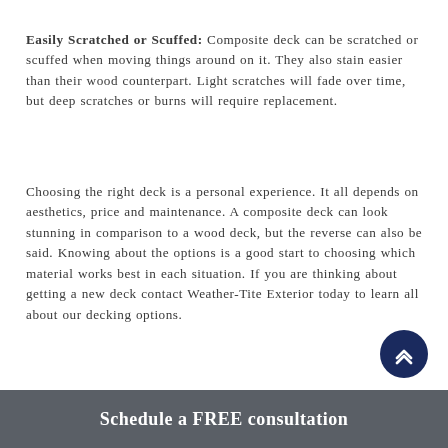Easily Scratched or Scuffed: Composite deck can be scratched or scuffed when moving things around on it. They also stain easier than their wood counterpart. Light scratches will fade over time, but deep scratches or burns will require replacement.
Choosing the right deck is a personal experience. It all depends on aesthetics, price and maintenance. A composite deck can look stunning in comparison to a wood deck, but the reverse can also be said. Knowing about the options is a good start to choosing which material works best in each situation. If you are thinking about getting a new deck contact Weather-Tite Exterior today to learn all about our decking options.
Schedule a FREE consultation